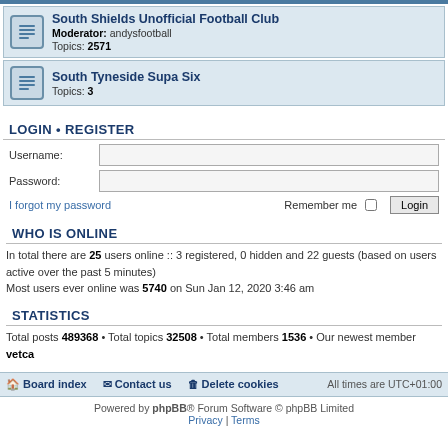South Shields Unofficial Football Club — Moderator: andysfootball — Topics: 2571
South Tyneside Supa Six — Topics: 3
LOGIN • REGISTER
Username:
Password:
I forgot my password   Remember me  Login
WHO IS ONLINE
In total there are 25 users online :: 3 registered, 0 hidden and 22 guests (based on users active over the past 5 minutes)
Most users ever online was 5740 on Sun Jan 12, 2020 3:46 am
STATISTICS
Total posts 489368 • Total topics 32508 • Total members 1536 • Our newest member vetca
Board index   Contact us   Delete cookies   All times are UTC+01:00
Powered by phpBB® Forum Software © phpBB Limited
Privacy | Terms